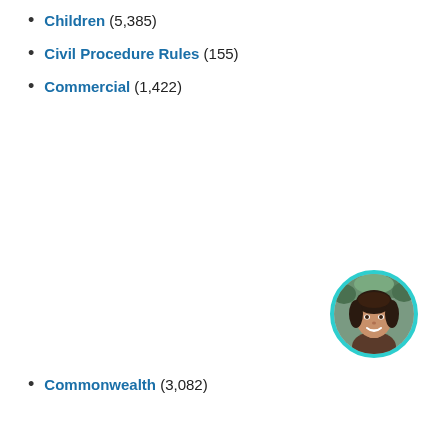Children (5,385)
Civil Procedure Rules (155)
Commercial (1,422)
[Figure (photo): Circular profile photo of a smiling woman with dark hair, framed by a teal/cyan circular border ring]
Commonwealth (3,082)